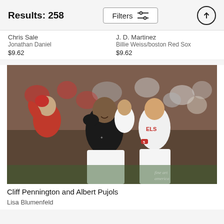Results: 258
Filters
Chris Sale
Jonathan Daniel
$9.62
J. D. Martinez
Billie Weiss/boston Red Sox
$9.62
[Figure (photo): Baseball celebration photo showing Cliff Pennington and Albert Pujols in Angels uniforms with crowd in background. Fine Art America watermark visible.]
Cliff Pennington and Albert Pujols
Lisa Blumenfeld